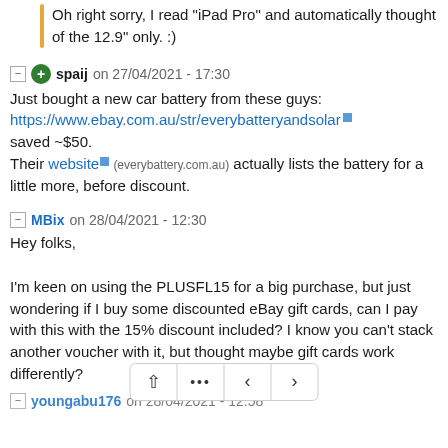Oh right sorry, I read "iPad Pro" and automatically thought of the 12.9" only. :)
spaij on 27/04/2021 - 17:30
Just bought a new car battery from these guys: https://www.ebay.com.au/str/everybatteryandsolar saved ~$50. Their website (everybattery.com.au) actually lists the battery for a little more, before discount.
MBix on 28/04/2021 - 12:30
Hey folks,

I'm keen on using the PLUSFL15 for a big purchase, but just wondering if I buy some discounted eBay gift cards, can I pay with this with the 15% discount included? I know you can't stack another voucher with it, but thought maybe gift cards work differently?
youngabu176 on 28/04/2021 - 12:58